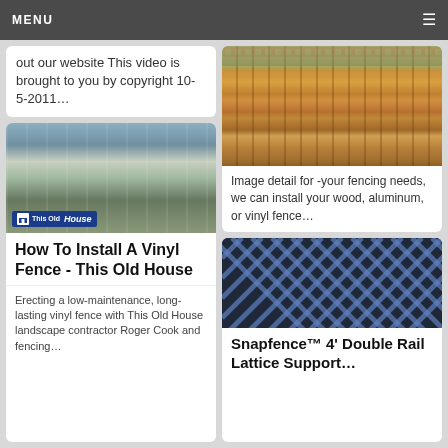MENU
out our website This video is brought to you by copyright 10-5-2011…
[Figure (photo): Man installing white vinyl fence in backyard with This Old House logo badge]
How To Install A Vinyl Fence - This Old House
Erecting a low-maintenance, long-lasting vinyl fence with This Old House landscape contractor Roger Cook and fencing…
[Figure (photo): Wooden privacy fence with lattice top in backyard]
Image detail for -your fencing needs, we can install your wood, aluminum, or vinyl fence…
[Figure (photo): Close-up of black and blue lattice fence material]
Snapfence™ 4' Double Rail Lattice Support…